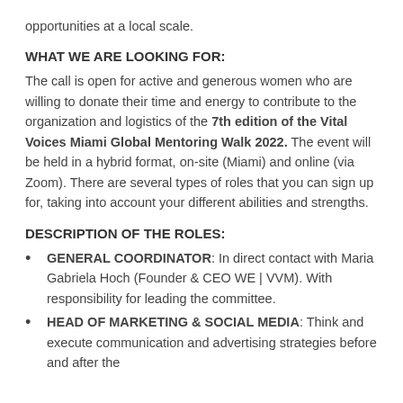opportunities at a local scale.
WHAT WE ARE LOOKING FOR:
The call is open for active and generous women who are willing to donate their time and energy to contribute to the organization and logistics of the 7th edition of the Vital Voices Miami Global Mentoring Walk 2022. The event will be held in a hybrid format, on-site (Miami) and online (via Zoom). There are several types of roles that you can sign up for, taking into account your different abilities and strengths.
DESCRIPTION OF THE ROLES:
GENERAL COORDINATOR: In direct contact with Maria Gabriela Hoch (Founder & CEO WE | VVM). With responsibility for leading the committee.
HEAD OF MARKETING & SOCIAL MEDIA: Think and execute communication and advertising strategies before and after the